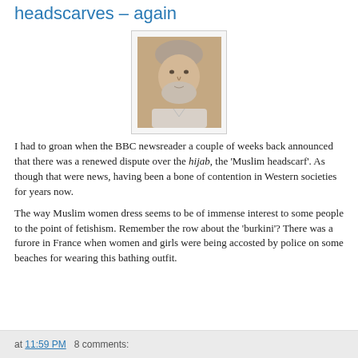headscarves – again
[Figure (photo): Portrait photo of an older man with grey/white hair and beard, wearing a light-colored shirt]
I had to groan when the BBC newsreader a couple of weeks back announced that there was a renewed dispute over the hijab, the 'Muslim headscarf'. As though that were news, having been a bone of contention in Western societies for years now.
The way Muslim women dress seems to be of immense interest to some people to the point of fetishism. Remember the row about the 'burkini'?  There was a furore in France when women and girls were being accosted by police on some beaches for wearing this bathing outfit.
at 11:59 PM   8 comments: